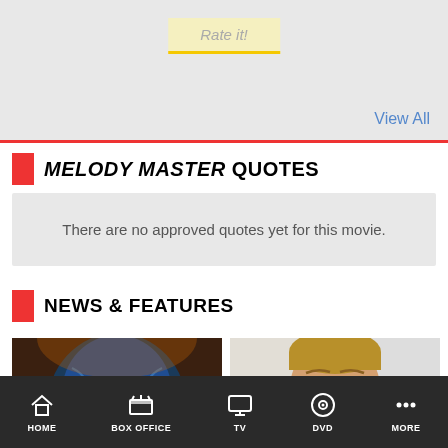[Figure (screenshot): Rate it button with yellow underline in a grey card area]
View All
MELODY MASTER QUOTES
There are no approved quotes yet for this movie.
NEWS & FEATURES
[Figure (photo): Blue Na'vi alien character from Avatar movie]
[Figure (photo): Man with surprised expression, light brown hair]
HOME   BOX OFFICE   TV   DVD   MORE